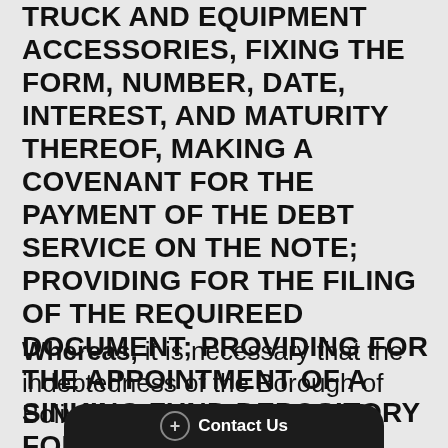TRUCK AND EQUIPMENT ACCESSORIES, FIXING THE FORM, NUMBER, DATE, INTEREST, AND MATURITY THEREOF, MAKING A COVENANT FOR THE PAYMENT OF THE DEBT SERVICE ON THE NOTE; PROVIDING FOR THE FILING OF THE REQUIREED DOCUMENT; PROVIDING FOR THE APPOINTMENT OF A SINKING FUND DEPOSITORY FOR THE NOTE; AND AUTHORIZING EXECUTION, SALE AND DELIVERY THEREOF.
Whereas, it is necessary that the indebtedness of the Borough of Bolivar, Westmoreland County, Pennsylvania be